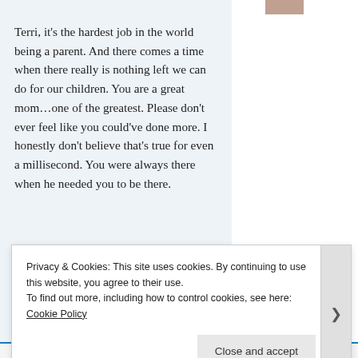Terri, it's the hardest job in the world being a parent. And there comes a time when there really is nothing left we can do for our children. You are a great mom…one of the greatest. Please don't ever feel like you could've done more. I honestly don't believe that's true for even a millisecond. You were always there when he needed you to be there.
★ Like
Reply
Privacy & Cookies: This site uses cookies. By continuing to use this website, you agree to their use.
To find out more, including how to control cookies, see here: Cookie Policy
Close and accept